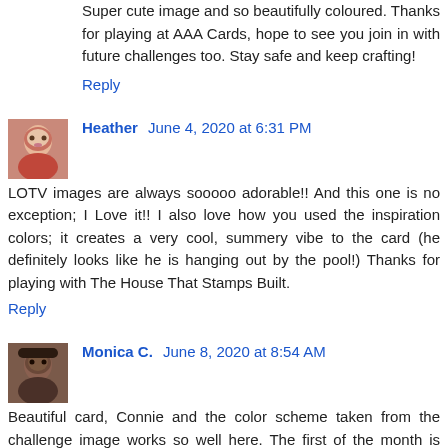Super cute image and so beautifully coloured. Thanks for playing at AAA Cards, hope to see you join in with future challenges too. Stay safe and keep crafting!
Reply
Heather  June 4, 2020 at 6:31 PM
LOTV images are always sooooo adorable!! And this one is no exception; I Love it!! I also love how you used the inspiration colors; it creates a very cool, summery vibe to the card (he definitely looks like he is hanging out by the pool!) Thanks for playing with The House That Stamps Built.
Reply
Monica C.  June 8, 2020 at 8:54 AM
Beautiful card, Connie and the color scheme taken from the challenge image works so well here. The first of the month is always pretty busy.
Hugs Monica